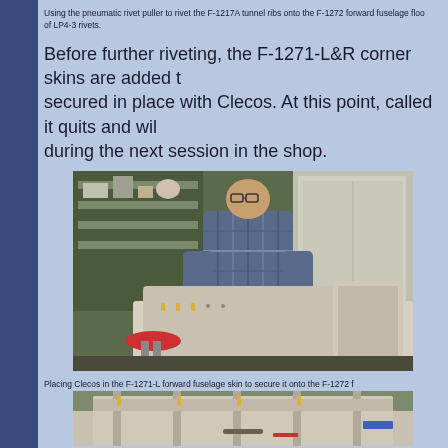Using the pneumatic rivet puller to rivet the F-1217A tunnel ribs onto the F-1272 forward fuselage floor of LP4-3 rivets.
Before further riveting, the F-1271-L&R corner skins are added to secured in place with Clecos. At this point, called it quits and will during the next session in the shop.
[Figure (photo): A person in a plaid shirt and safety glasses working on aircraft fuselage components in a workshop, placing or adjusting a forward fuselage skin onto components on a workbench. Various tools and a red stool are visible in the background.]
Placing Clecos in the F-1271-L forward fuselage skin to secure it onto the F-1272 f
[Figure (photo): Workshop view of aircraft fuselage components including ribs and skins being assembled on a workbench.]